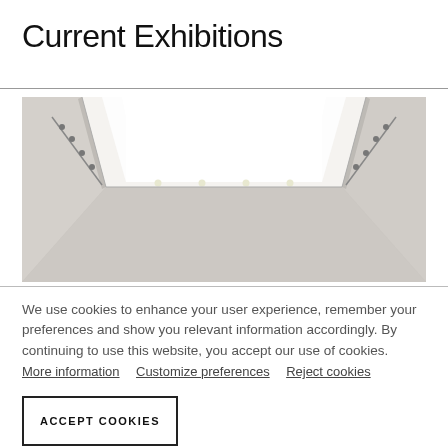Current Exhibitions
[Figure (photo): Interior gallery space viewed from below, showing a large skylight/ceiling light panel in the center, with track lighting along the walls on both sides. The space is white and bright.]
We use cookies to enhance your user experience, remember your preferences and show you relevant information accordingly. By continuing to use this website, you accept our use of cookies.
More information   Customize preferences   Reject cookies
ACCEPT COOKIES